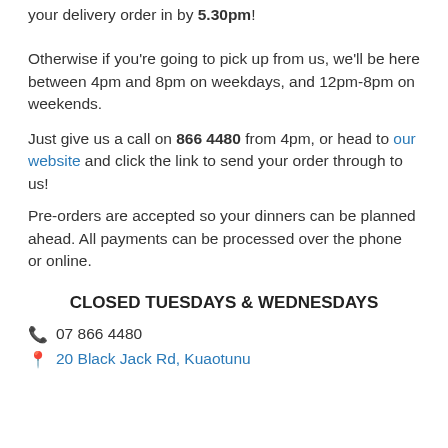your delivery order in by 5.30pm!
Otherwise if you're going to pick up from us, we'll be here between 4pm and 8pm on weekdays, and 12pm-8pm on weekends.
Just give us a call on 866 4480 from 4pm, or head to our website and click the link to send your order through to us!
Pre-orders are accepted so your dinners can be planned ahead. All payments can be processed over the phone or online.
CLOSED TUESDAYS & WEDNESDAYS
07 866 4480
20 Black Jack Rd, Kuaotunu